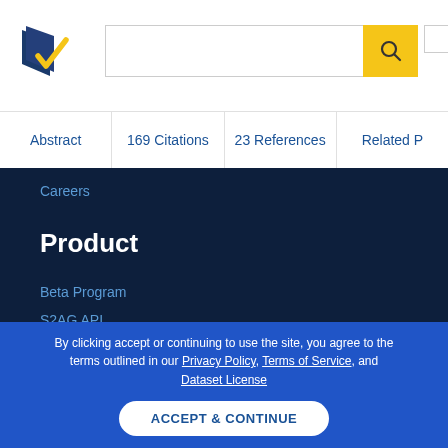[Figure (logo): Semantic Scholar logo — stylized open book with navy and gold checkmark]
Abstract | 169 Citations | 23 References | Related P
Careers
Product
Beta Program
S2AG API
Semantic Reader
By clicking accept or continuing to use the site, you agree to the terms outlined in our Privacy Policy, Terms of Service, and Dataset License
ACCEPT & CONTINUE